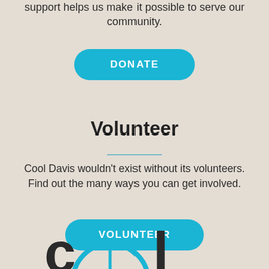support helps us make it possible to serve our community.
DONATE
Volunteer
Cool Davis wouldn't exist without its volunteers. Find out the many ways you can get involved.
VOLUNTEER
[Figure (logo): Cool Davis logo — partial bicycle wheel and letters 'c', 'o', 'l' visible at bottom of page in teal and dark colors]